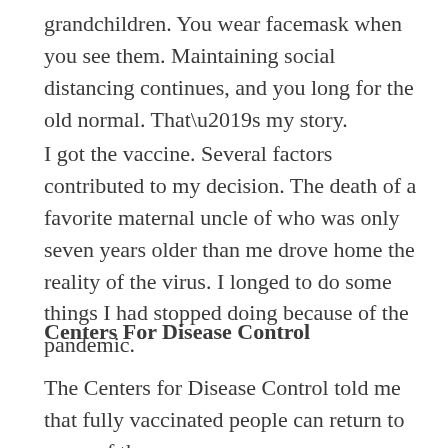grandchildren. You wear facemask when you see them. Maintaining social distancing continues, and you long for the old normal. That’s my story.
I got the vaccine. Several factors contributed to my decision. The death of a favorite maternal uncle of who was only seven years older than me drove home the reality of the virus. I longed to do some things I had stopped doing because of the pandemic.
Centers For Disease Control
The Centers for Disease Control told me that fully vaccinated people can return to some of the pre-